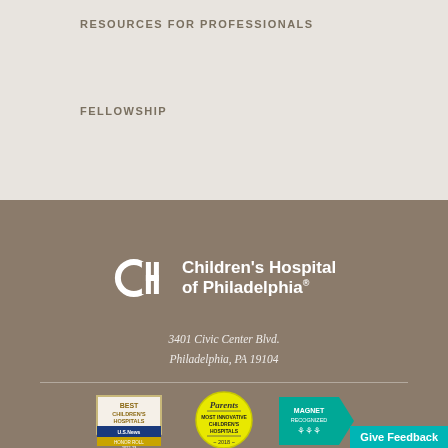RESOURCES FOR PROFESSIONALS
FELLOWSHIP
[Figure (logo): Children's Hospital of Philadelphia logo with CH icon and text]
3401 Civic Center Blvd.
Philadelphia, PA 19104
[Figure (logo): US News Best Children's Hospitals Honor Roll 2022-23 badge]
[Figure (logo): Parents Most Innovative Children's Hospitals 2018 badge]
[Figure (logo): Magnet Recognized badge]
Give Feedback